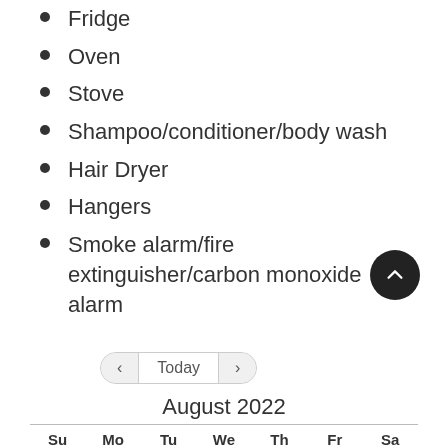Fridge
Oven
Stove
Shampoo/conditioner/body wash
Hair Dryer
Hangers
Smoke alarm/fire extinguisher/carbon monoxide alarm
Today  <  >
August 2022
Su  Mo  Tu  We  Th  Fr  Sa